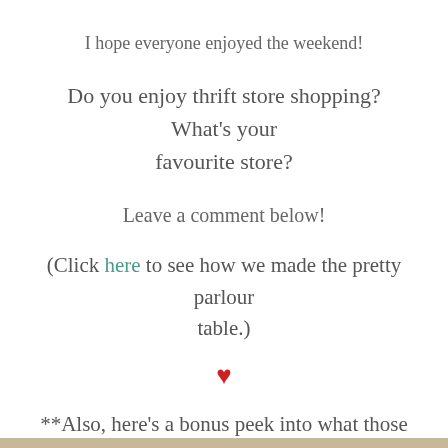I hope everyone enjoyed the weekend!
Do you enjoy thrift store shopping? What's your favourite store?
Leave a comment below!
(Click here to see how we made the pretty parlour table.)
[Figure (illustration): Red heart symbol]
**Also, here's a bonus peek into what those sneaky little mini dollies got up to this weekend!